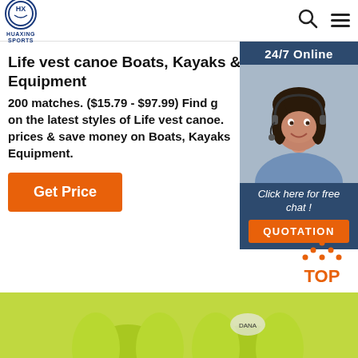HUAXING SPORTS
Life vest canoe Boats, Kayaks & Boating Equipment
200 matches. ($15.79 - $97.99) Find great prices on the latest styles of Life vest canoe. Compare prices & save money on Boats, Kayaks & Boating Equipment.
Get Price
[Figure (photo): Customer service representative woman with headset, smiling. Dark-themed panel with '24/7 Online' header, 'Click here for free chat!' text, and orange QUOTATION button.]
[Figure (infographic): Orange TOP button with dotted triangle/arrow icon above text]
[Figure (photo): Yellow-green life vests / personal flotation devices shown at bottom of page]